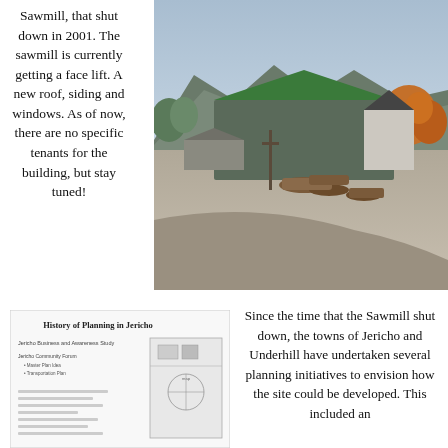Sawmill, that shut down in 2001. The sawmill is currently getting a face lift. A new roof, siding and windows. As of now, there are no specific tenants for the building, but stay tuned!
[Figure (photo): Photograph of the former sawmill building with a green roof, surrounded by a gravel yard with stacked logs. Mountains and autumn trees visible in the background under a partly cloudy sky.]
[Figure (screenshot): Small document image showing 'History of Planning in Jericho' with text listing planning studies and a small map or diagram on the right side.]
Since the time that the Sawmill shut down, the towns of Jericho and Underhill have undertaken several planning initiatives to envision how the site could be developed. This included an